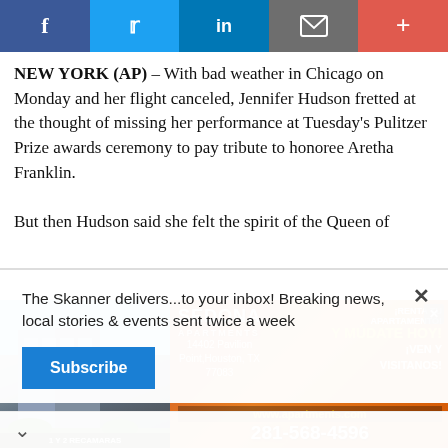[Figure (other): Social sharing bar with Facebook, Twitter, LinkedIn, email/envelope, and plus icons on colored backgrounds]
NEW YORK (AP) – With bad weather in Chicago on Monday and her flight canceled, Jennifer Hudson fretted at the thought of missing her performance at Tuesday's Pulitzer Prize awards ceremony to pay tribute to honoree Aretha Franklin.

But then Hudson said she felt the spirit of the Queen of
The Skanner delivers...to your inbox! Breaking news, local stories & events sent twice a week
Subscribe
[Figure (photo): Sedona Apartments ad: building photo on left, orange/red background with text: RENTA TU APARTAMENTO Y MUDATE HOY! VEN Y VISITANOS, Sedona Apartments logo, 14402 Pavilion Point Houston TX 77083, www.apartments.com, 281-568-4596, 1 Y 2 RECAMARAS]